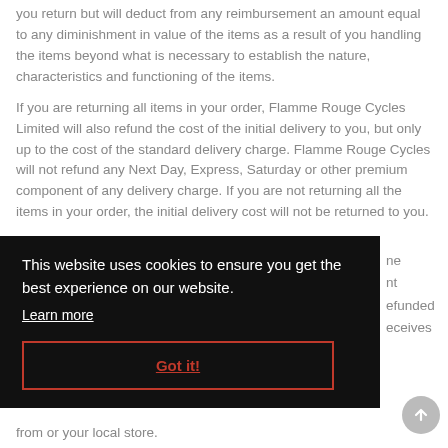you return but will deduct from any reimbursement an amount equal to any diminishment in value of the items as a result of you handling the items beyond what is necessary to establish the nature, characteristics and functioning of the items.
If you are returning all items in your order, Flamme Rouge Cycles Limited will also refund the cost of the initial delivery to you, but only up to the cost of the standard delivery charge. Flamme Rouge Cycles will not refund any Next Day, Express, Saturday or other premium component of any delivery charge. If you are not returning all the items in your order, the initial delivery cost will not be returned to you.
[Figure (screenshot): Cookie consent overlay banner with dark background. Text reads 'This website uses cookies to ensure you get the best experience on our website.' with a 'Learn more' link and a 'Got it!' button with red border.]
...ne ...nt ...refunded ...receives
...sed from or your local store.